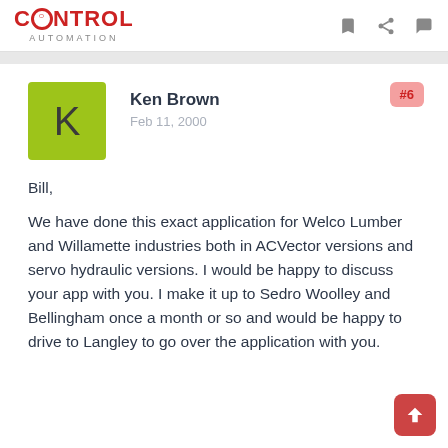CONTROL AUTOMATION
Ken Brown
Feb 11, 2000
#6
Bill,

We have done this exact application for Welco Lumber and Willamette industries both in ACVector versions and servo hydraulic versions. I would be happy to discuss your app with you. I make it up to Sedro Woolley and Bellingham once a month or so and would be happy to drive to Langley to go over the application with you.